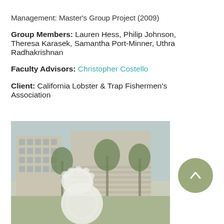Management: Master's Group Project (2009)
Group Members: Lauren Hess, Philip Johnson, Theresa Karasek, Samantha Port-Minner, Uthra Radhakrishnan
Faculty Advisors: Christopher Costello
Client: California Lobster & Trap Fishermen's Association
[Figure (photo): Photo of a modern university building with palm trees and a white logo/seal overlay in the center foreground; green lawn visible at bottom]